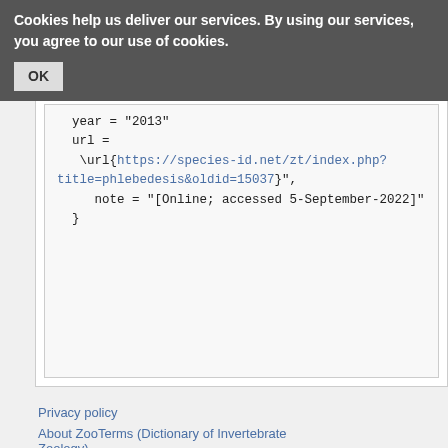Cookies help us deliver our services. By using our services, you agree to our use of cookies. OK
Privacy policy
About ZooTerms (Dictionary of Invertebrate Zoology)
Terms of Use  Developers
[Figure (logo): Creative Commons BY-SA license badge]